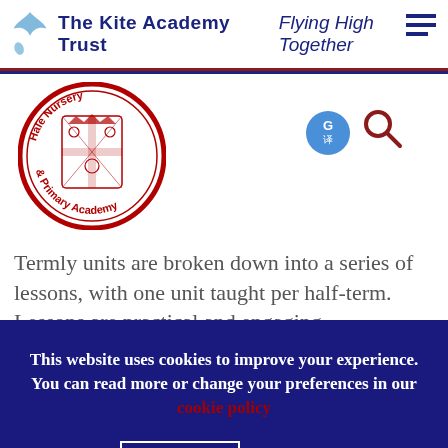The Kite Academy Trust  Flying High Together
[Figure (logo): Hale Nursery & Primary Academy circular school crest logo with red border and coat of arms in centre]
[Figure (logo): Google Translate icon (blue circle with G and translation symbol)]
[Figure (logo): Dark red magnifying glass search icon]
Termly units are broken down into a series of lessons, with one unit taught per half-term. Lessons are practical and engaging, encouraging
This website uses cookies to improve your experience. You can read more or change your preferences in our cookie policy
Accept
Reject